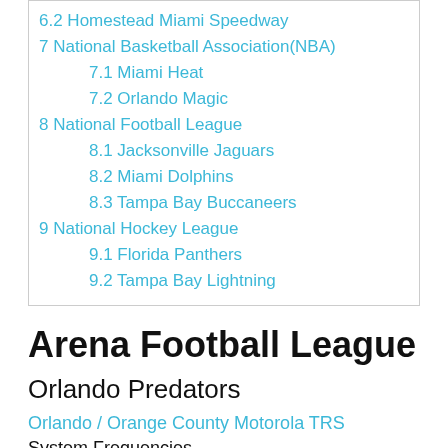6.2 Homestead Miami Speedway
7 National Basketball Association(NBA)
7.1 Miami Heat
7.2 Orlando Magic
8 National Football League
8.1 Jacksonville Jaguars
8.2 Miami Dolphins
8.3 Tampa Bay Buccaneers
9 National Hockey League
9.1 Florida Panthers
9.2 Tampa Bay Lightning
Arena Football League
Orlando Predators
Orlando / Orange County Motorola TRS
System Frequencies